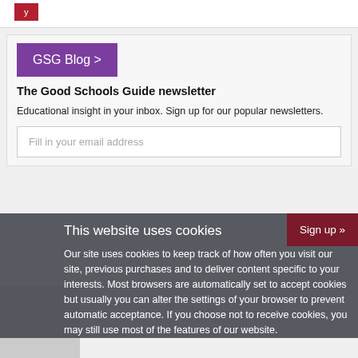[Figure (other): Red button partially visible at the top of the page]
[Figure (other): Purple GSG Blog > button]
The Good Schools Guide newsletter
Educational insight in your inbox. Sign up for our popular newsletters.
Fill in your email address
Sign up »
This website uses cookies
Our site uses cookies to keep track of how often you visit our site, previous purchases and to deliver content specific to your interests. Most browsers are automatically set to accept cookies but usually you can alter the settings of your browser to prevent automatic acceptance. If you choose not to receive cookies, you may still use most of the features of our website.